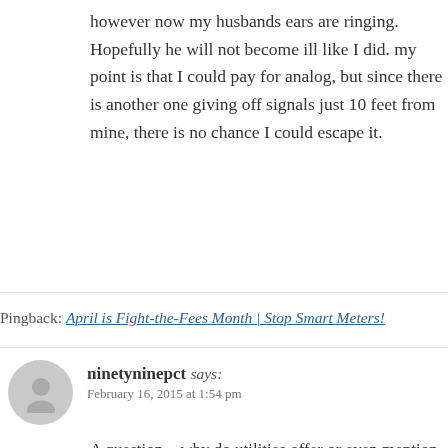however now my husbands ears are ringing. Hopefully he will not become ill like I did. my point is that I could pay for analog, but since there is another one giving off signals just 10 feet from mine, there is no chance I could escape it.
Pingback: April is Fight-the-Fees Month | Stop Smart Meters!
ninetyninepct says: February 16, 2015 at 1:54 pm
A question – why do utilities offer or even mention this never "opted in".
onthelevelblog says: February 16, 2015 at 10:48 pm
They forcefully opted us all in through a corr...